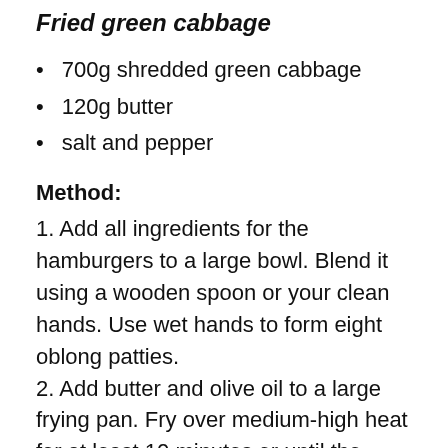Fried green cabbage
700g shredded green cabbage
120g butter
salt and pepper
Method:
1. Add all ingredients for the hamburgers to a large bowl. Blend it using a wooden spoon or your clean hands. Use wet hands to form eight oblong patties.
2. Add butter and olive oil to a large frying pan. Fry over medium-high heat for at least 10 minutes or until the patties have turned a nice colour. Add tomato paste and whipping cream to the pan when the patties are almost done. Stir and let simmer for a few minutes. Salt and pepper to taste.
Sprinkle chopped parsley on top before…